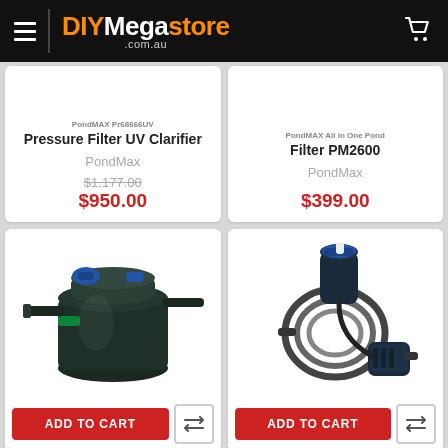DIYMegastore .com.au
PondMAX Pressure Filter UV Clarifier
PondMax
$1,177.00
$950.00
PondMAX All in One Pond Filter PM2600
PondMax
$399.00
[Figure (photo): PondMAX pressure filter UV clarifier product photo - black cylindrical pressure filter with blue handles and hose connectors]
[Figure (photo): PondMAX All in One Pond Filter PM2600 product photo - black canister filter with hose and pump accessories]
ADD TO CART
ADD TO CART